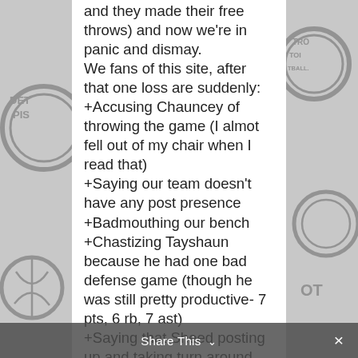and they made their free throws) and now we're in panic and dismay. We fans of this site, after that one loss are suddenly: +Accusing Chauncey of throwing the game (I almot fell out of my chair when I read that) +Saying our team doesn't have any post presence +Badmouthing our bench +Chastizing Tayshaun because he had one bad defense game (though he was still pretty productive- 7 pts, 6 rb, 7 ast) +Saying that Sheed posting up and taking turn around
Share This ∨  ×